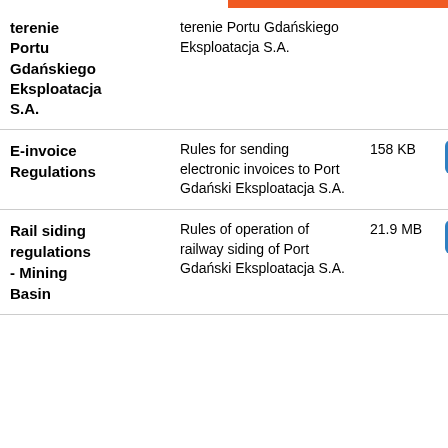| Name | Description | Size | Action |
| --- | --- | --- | --- |
| terenie Portu Gdańskiego Eksploatacja S.A. | terenie Portu Gdańskiego Eksploatacja S.A. |  |  |
| E-invoice Regulations | Rules for sending electronic invoices to Port Gdański Eksploatacja S.A. | 158 KB | Download |
| Rail siding regulations - Mining Basin | Rules of operation of railway siding of Port Gdański Eksploatacja S.A. | 21.9 MB | Download |